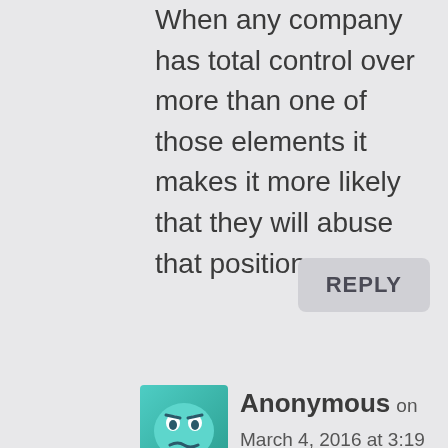When any company has total control over more than one of those elements it makes it more likely that they will abuse that position.
REPLY
[Figure (illustration): Avatar icon of an anonymous user — a cartoon face with a teal/blue-green gradient background]
Anonymous on March 4, 2016 at 3:19 pm
At some point I'm not even
At some point I'm not even sure that abuse factors in. What Microsoft is in a position to do is unprecedented, a perfect storm of sorts: